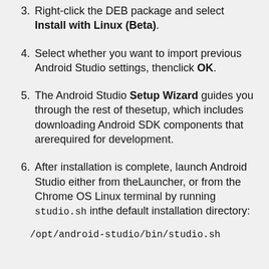3. Right-click the DEB package and select Install with Linux (Beta).
4. Select whether you want to import previous Android Studio settings, thenclick OK.
5. The Android Studio Setup Wizard guides you through the rest of thesetup, which includes downloading Android SDK components that arerequired for development.
6. After installation is complete, launch Android Studio either from theLauncher, or from the Chrome OS Linux terminal by running studio.sh inthe default installation directory:
/opt/android-studio/bin/studio.sh